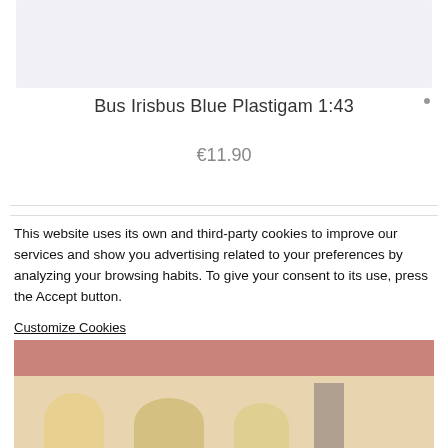[Figure (photo): Product image placeholder — light grey/blue background box at top of page]
Bus Irisbus Blue Plastigam 1:43
€11.90
This website uses its own and third-party cookies to improve our services and show you advertising related to your preferences by analyzing your browsing habits. To give your consent to its use, press the Accept button.
Customize Cookies
[Figure (photo): Interior scene image with terracotta/salmon colored upper area and lamp shapes/interior furnishings at the bottom, partially cropped]